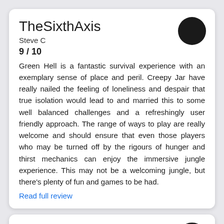TheSixthAxis
Steve C
9 / 10
Green Hell is a fantastic survival experience with an exemplary sense of place and peril. Creepy Jar have really nailed the feeling of loneliness and despair that true isolation would lead to and married this to some well balanced challenges and a refreshingly user friendly approach. The range of ways to play are really welcome and should ensure that even those players who may be turned off by the rigours of hunger and thirst mechanics can enjoy the immersive jungle experience. This may not be a welcoming jungle, but there's plenty of fun and games to be had.
Read full review
Areajugones